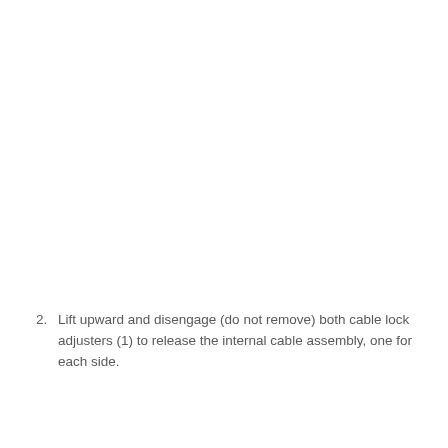2. Lift upward and disengage (do not remove) both cable lock adjusters (1) to release the internal cable assembly, one for each side.